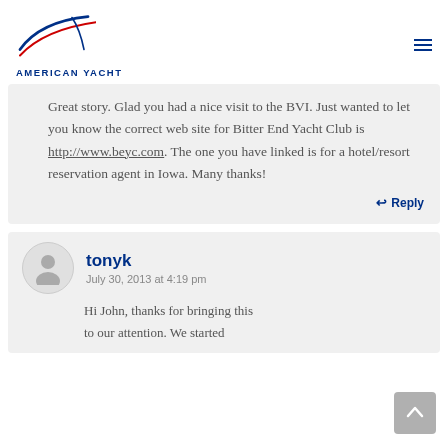AMERICAN YACHT
Great story. Glad you had a nice visit to the BVI. Just wanted to let you know the correct web site for Bitter End Yacht Club is http://www.beyc.com. The one you have linked is for a hotel/resort reservation agent in Iowa. Many thanks!
Reply
tonyk
July 30, 2013 at 4:19 pm
Hi John, thanks for bringing this to our attention. We started…